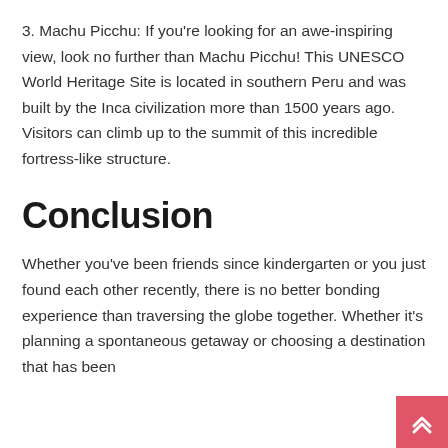3. Machu Picchu: If you're looking for an awe-inspiring view, look no further than Machu Picchu! This UNESCO World Heritage Site is located in southern Peru and was built by the Inca civilization more than 1500 years ago. Visitors can climb up to the summit of this incredible fortress-like structure.
Conclusion
Whether you've been friends since kindergarten or you just found each other recently, there is no better bonding experience than traversing the globe together. Whether it's planning a spontaneous getaway or choosing a destination that has been